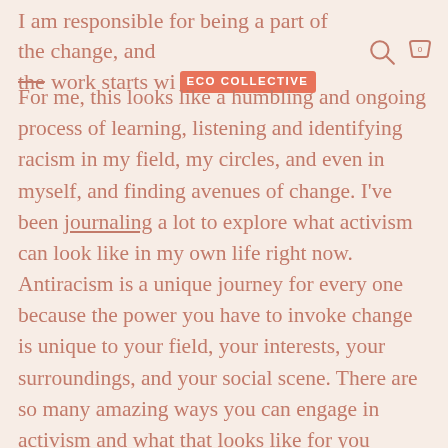I am responsible for being a part of the change, and the work starts wi[ECO COLLECTIVE logo]
For me, this looks like a humbling and ongoing process of learning, listening and identifying racism in my field, my circles, and even in myself, and finding avenues of change. I've been journaling a lot to explore what activism can look like in my own life right now. Antiracism is a unique journey for every one because the power you have to invoke change is unique to your field, your interests, your surroundings, and your social scene. There are so many amazing ways you can engage in activism and what that looks like for you depends entirely on the tools you have and the audience you're working within. As a business owner and creative director, it's important for me to share environmental justice